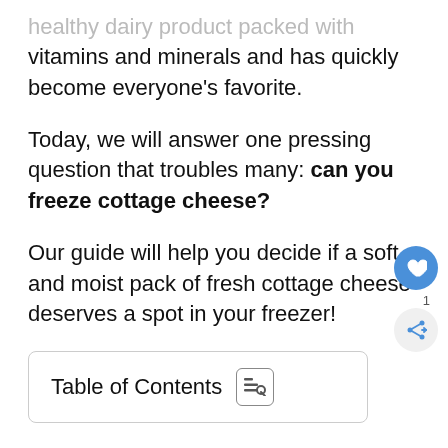healthy dairy product packed with vitamins and minerals and has quickly become everyone's favorite.
Today, we will answer one pressing question that troubles many: can you freeze cottage cheese?
Our guide will help you decide if a soft and moist pack of fresh cottage cheese deserves a spot in your freezer!
Table of Contents